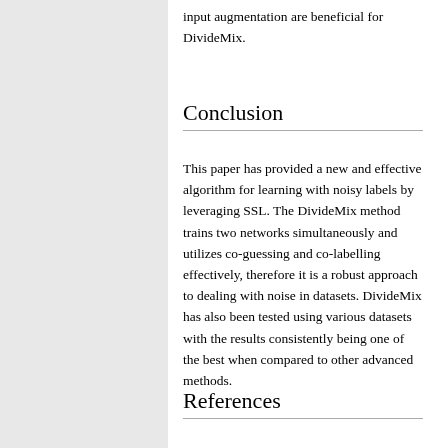input augmentation are beneficial for DivideMix.
Conclusion
This paper has provided a new and effective algorithm for learning with noisy labels by leveraging SSL. The DivideMix method trains two networks simultaneously and utilizes co-guessing and co-labelling effectively, therefore it is a robust approach to dealing with noise in datasets. DivideMix has also been tested using various datasets with the results consistently being one of the best when compared to other advanced methods.
References